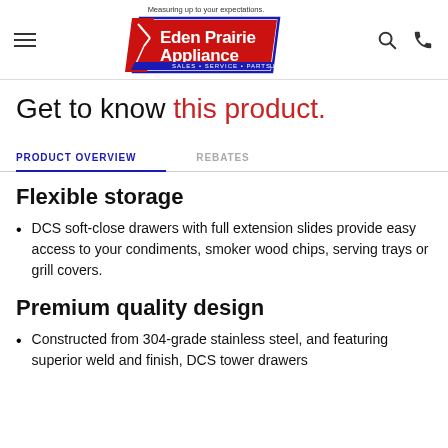Eden Prairie Appliance — Measuring up to your expectations. LLC
Get to know this product.
PRODUCT OVERVIEW   REBATES
Flexible storage
DCS soft-close drawers with full extension slides provide easy access to your condiments, smoker wood chips, serving trays or grill covers.
Premium quality design
Constructed from 304-grade stainless steel, and featuring superior weld and finish, DCS tower drawers